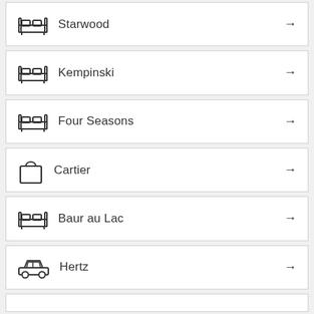Starwood
Kempinski
Four Seasons
Cartier
Baur au Lac
Hertz